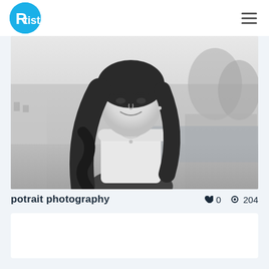Rtist
[Figure (photo): Black and white portrait photograph of a young woman with long wavy hair, smiling, wearing an off-shoulder white top, with a blurred outdoor background.]
potrait photography
♥ 0  ◉ 204